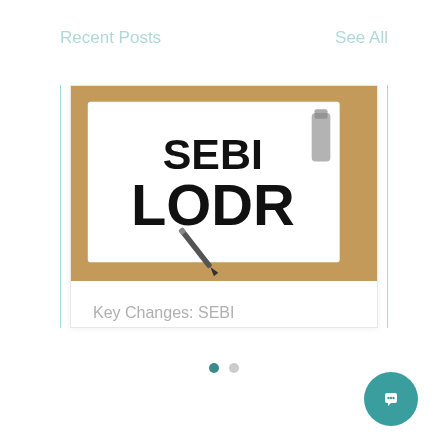Recent Posts
See All
[Figure (photo): Photo of a clipboard with 'SEBI LODR' written in bold letters, with a pen resting on it against a brown wooden background.]
Key Changes: SEBI (LODR) Regulation,...
29 views · 0 comments · 6 likes